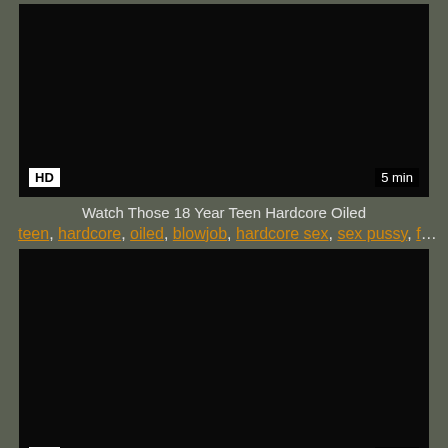[Figure (screenshot): Black video thumbnail with HD badge and 5 min duration label]
Watch Those 18 Year Teen Hardcore Oiled
teen, hardcore, oiled, blowjob, hardcore sex, sex pussy, fr...
[Figure (screenshot): Black video thumbnail with HD badge and 5 min duration label]
Wild Cowgirl Riding Teen Hardcore Oiled